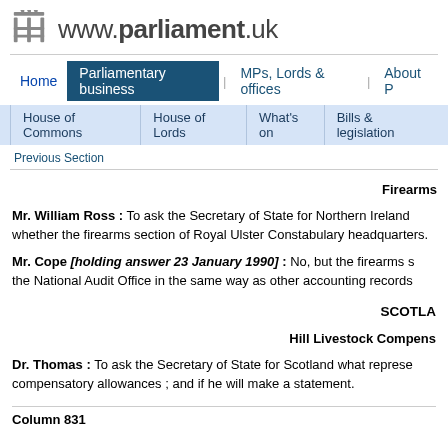www.parliament.uk
Home | Parliamentary business | MPs, Lords & offices | About P
House of Commons | House of Lords | What's on | Bills & legislation
Previous Section
Firearms
Mr. William Ross : To ask the Secretary of State for Northern Ireland whether the firearms section of Royal Ulster Constabulary headquarters.
Mr. Cope [holding answer 23 January 1990] : No, but the firearms section records are open to inspection by the National Audit Office in the same way as other accounting records.
SCOTLAND
Hill Livestock Compensatory Allowances
Dr. Thomas : To ask the Secretary of State for Scotland what representations he has received about compensatory allowances ; and if he will make a statement.
Column 831